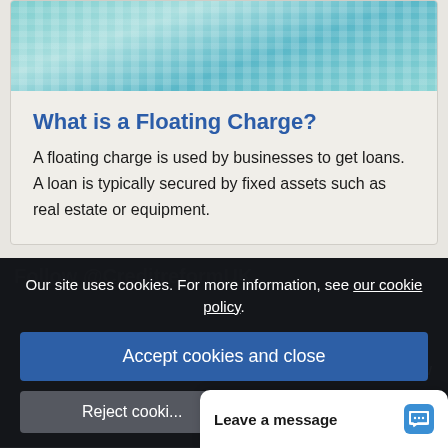[Figure (photo): Water surface with ripple/wave patterns in teal/cyan tones]
What is a Floating Charge?
A floating charge is used by businesses to get loans. A loan is typically secured by fixed assets such as real estate or equipment.
Our site uses cookies. For more information, see our cookie policy.
Accept cookies and close
Reject cooki...
Leave a message